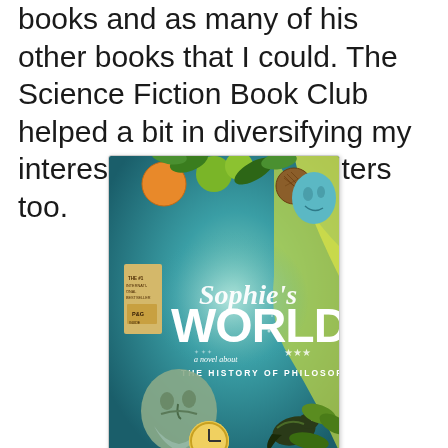books and as many of his other books that I could. The Science Fiction Book Club helped a bit in diversifying my interest in other sci-fi writers too.
[Figure (illustration): Book cover of 'Sophie's World: a novel about The History of Philosophy'. The cover features a colorful illustrated scene with fruit, leaves, a classical Greek bust of a philosopher, a bird, butterflies, stars, and a glowing teal/green background. The title 'Sophie's World' is written in white script and 'WORLD' in large white block letters. A tan sticker on the left reads 'THE #1 INTERNATIONAL BESTSELLER' and has a 'P&G' label.]